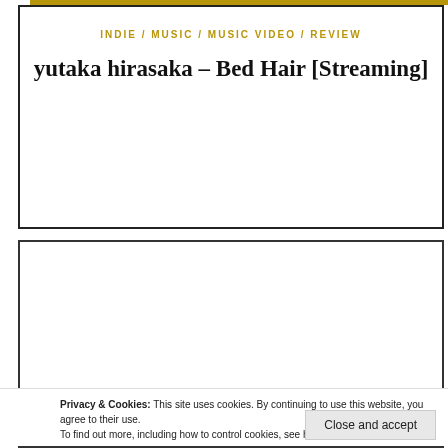INDIE / MUSIC / MUSIC VIDEO / REVIEW
yutaka hirasaka – Bed Hair [Streaming]
Leave a Reply
Enter your comment here...
Privacy & Cookies: This site uses cookies. By continuing to use this website, you agree to their use.
To find out more, including how to control cookies, see here: Cookie Policy
Close and accept